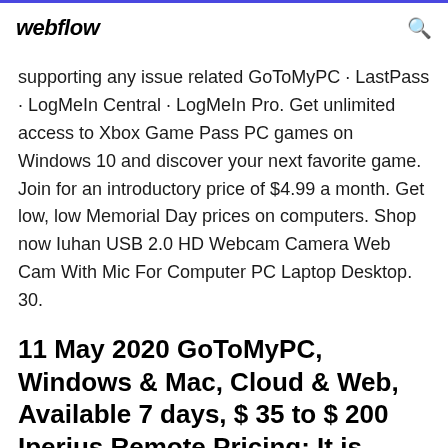webflow
supporting any issue related GoToMyPC · LastPass · LogMeIn Central · LogMeIn Pro. Get unlimited access to Xbox Game Pass PC games on Windows 10 and discover your next favorite game. Join for an introductory price of $4.99 a month. Get low, low Memorial Day prices on computers. Shop now Iuhan USB 2.0 HD Webcam Camera Web Cam With Mic For Computer PC Laptop Desktop. 30.
11 May 2020 GoToMyPC, Windows & Mac, Cloud & Web, Available 7 days, $ 35 to $ 200 Iperius Remote Pricing: It is